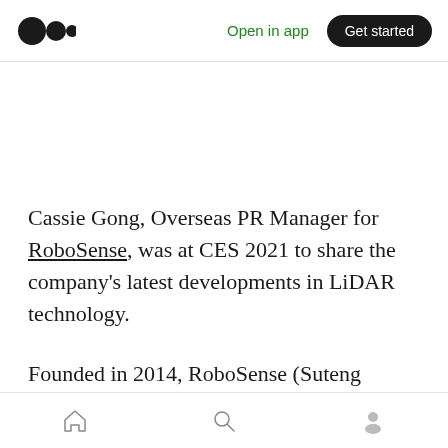Medium logo | Open in app | Get started
Cassie Gong, Overseas PR Manager for RoboSense, was at CES 2021 to share the company's latest developments in LiDAR technology.
Founded in 2014, RoboSense (Suteng Innovation Technology Co., Ltd.) is the leading provider of
Home | Search | Profile